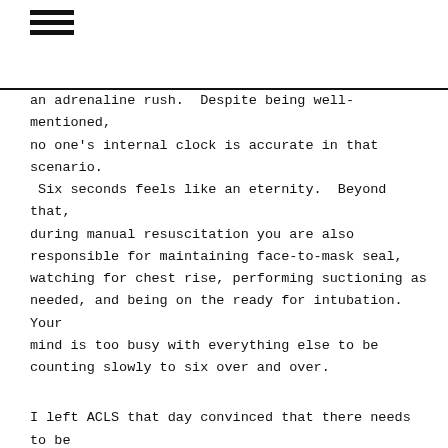≡
an adrenaline rush.  Despite being well-mentioned, no one's internal clock is accurate in that scenario.  Six seconds feels like an eternity.  Beyond that, during manual resuscitation you are also responsible for maintaining face-to-mask seal, watching for chest rise, performing suctioning as needed, and being on the ready for intubation.  Your mind is too busy with everything else to be counting slowly to six over and over.
I left ACLS that day convinced that there needs to be a safeguard on the Bag Valve Mask (BVM) to prevent operator error. Simply re-emphasizing the point does not work for the basics of auditory. M...